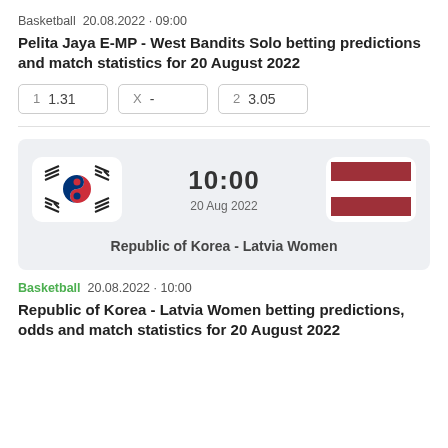Basketball  20.08.2022 · 09:00
Pelita Jaya E-MP - West Bandits Solo betting predictions and match statistics for 20 August 2022
| 1 | X | 2 |
| --- | --- | --- |
| 1.31 | - | 3.05 |
[Figure (infographic): Match card showing South Korea flag on left, time 10:00 and date 20 Aug 2022 in center, Latvia flag on right, and text 'Republic of Korea - Latvia Women' below]
Basketball  20.08.2022 · 10:00
Republic of Korea - Latvia Women betting predictions, odds and match statistics for 20 August 2022